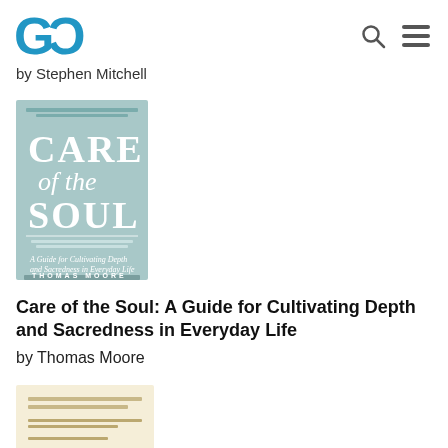GC
by Stephen Mitchell
[Figure (photo): Book cover of 'Care of the Soul: A Guide for Cultivating Depth and Sacredness in Everyday Life' by Thomas Moore. Light teal/blue cover with large white serif title text.]
Care of the Soul: A Guide for Cultivating Depth and Sacredness in Everyday Life
by Thomas Moore
[Figure (photo): Partial view of a second book cover, cream/beige colored, partially cut off at bottom of page.]